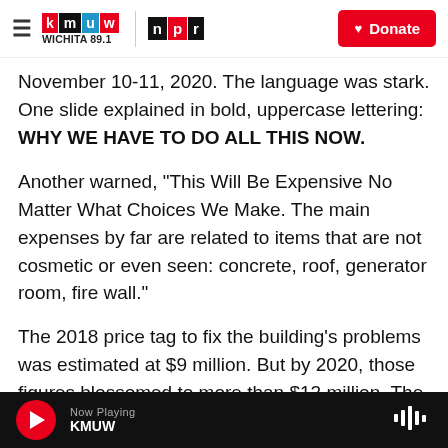KMUW Wichita 89.1 | NPR | Donate
November 10-11, 2020. The language was stark. One slide explained in bold, uppercase lettering: WHY WE HAVE TO DO ALL THIS NOW.
Another warned, "This Will Be Expensive No Matter What Choices We Make. The main expenses by far are related to items that are not cosmetic or even seen: concrete, roof, generator room, fire wall."
The 2018 price tag to fix the building's problems was estimated at $9 million. But by 2020, those figures blossomed to more than $12 million. The board wanted to take out a $15 million line of credit
Now Playing KMUW